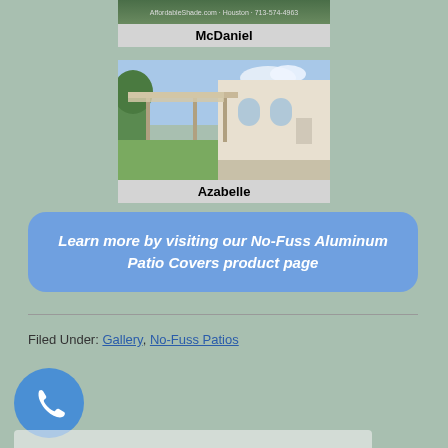[Figure (photo): Photo of McDaniel patio cover installation with website URL and phone number overlay]
McDaniel
[Figure (photo): Photo of Azabelle aluminum patio cover attached to a white house with arched windows and a large backyard]
Azabelle
Learn more by visiting our No-Fuss Aluminum Patio Covers product page
Filed Under: Gallery, No-Fuss Patios
[Figure (illustration): Blue circular phone icon button]